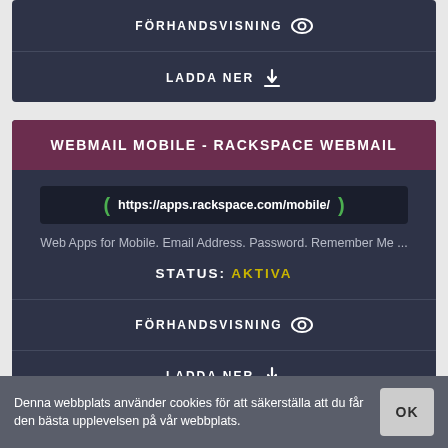[Figure (screenshot): Top card with FÖRHANDSVISNING (preview) and LADDA NER (download) buttons on dark background]
WEBMAIL MOBILE - RACKSPACE WEBMAIL
https://apps.rackspace.com/mobile/
Web Apps for Mobile. Email Address. Password. Remember Me ...
STATUS: AKTIVA
FÖRHANDSVISNING
LADDA NER
Denna webbplats använder cookies för att säkerställa att du får den bästa upplevelsen på vår webbplats.